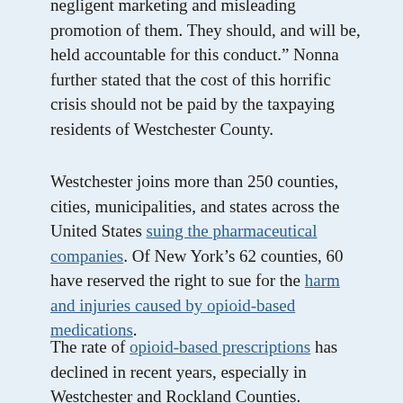negligent marketing and misleading promotion of them. They should, and will be, held accountable for this conduct." Nonna further stated that the cost of this horrific crisis should not be paid by the taxpaying residents of Westchester County.
Westchester joins more than 250 counties, cities, municipalities, and states across the United States suing the pharmaceutical companies. Of New York's 62 counties, 60 have reserved the right to sue for the harm and injuries caused by opioid-based medications.
The rate of opioid-based prescriptions has declined in recent years, especially in Westchester and Rockland Counties.